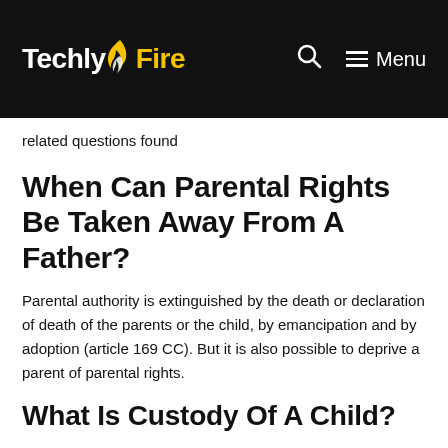TechlyFire — Menu
related questions found
When Can Parental Rights Be Taken Away From A Father?
Parental authority is extinguished by the death or declaration of death of the parents or the child, by emancipation and by adoption (article 169 CC). But it is also possible to deprive a parent of parental rights.
What Is Custody Of A Child?
Guardianship and custody, also called legal custody,